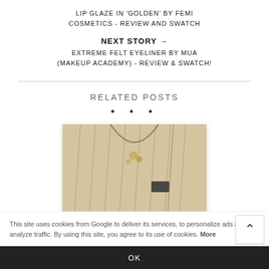LIP GLAZE IN 'GOLDEN' BY FEMI COSMETICS - REVIEW AND SWATCH
NEXT STORY →
EXTREME FELT EYELINER BY MUA (MAKEUP ACADEMY) - REVIEW & SWATCH!
RELATED POSTS
[Figure (photo): Photo of a beige/cream colored garment with pleated fabric and floral embellishment at the neckline, hanging on a hanger]
This site uses cookies from Google to deliver its services, to personalize ads and to analyze traffic. By using this site, you agree to its use of cookies. More
OK